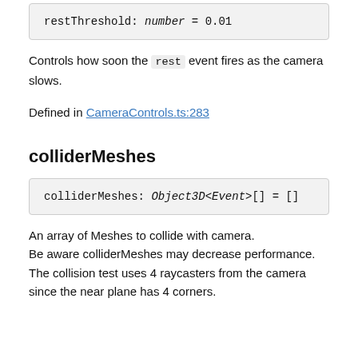restThreshold: number = 0.01
Controls how soon the rest event fires as the camera slows.
Defined in CameraControls.ts:283
colliderMeshes
colliderMeshes: Object3D<Event>[] = []
An array of Meshes to collide with camera. Be aware colliderMeshes may decrease performance. The collision test uses 4 raycasters from the camera since the near plane has 4 corners.